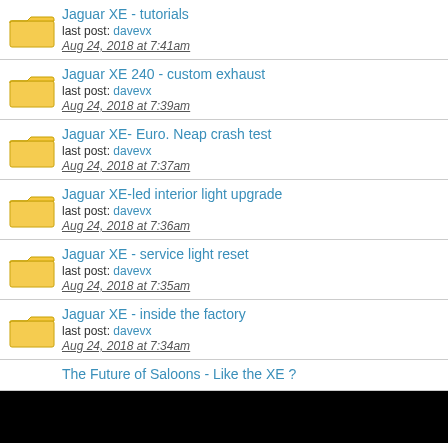Jaguar XE - tutorials
last post: davevx
Aug 24, 2018 at 7:41am
Jaguar XE 240 - custom exhaust
last post: davevx
Aug 24, 2018 at 7:39am
Jaguar XE- Euro. Neap crash test
last post: davevx
Aug 24, 2018 at 7:37am
Jaguar XE-led interior light upgrade
last post: davevx
Aug 24, 2018 at 7:36am
Jaguar XE - service light reset
last post: davevx
Aug 24, 2018 at 7:35am
Jaguar XE - inside the factory
last post: davevx
Aug 24, 2018 at 7:34am
The Future of Saloons - Like the XE ?